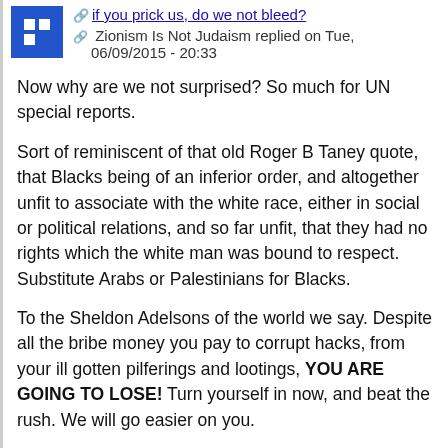if you prick us, do we not bleed?
Zionism Is Not Judaism replied on Tue, 06/09/2015 - 20:33
Now why are we not surprised? So much for UN special reports.
Sort of reminiscent of that old Roger B Taney quote, that Blacks being of an inferior order, and altogether unfit to associate with the white race, either in social or political relations, and so far unfit, that they had no rights which the white man was bound to respect. Substitute Arabs or Palestinians for Blacks.
To the Sheldon Adelsons of the world we say. Despite all the bribe money you pay to corrupt hacks, from your ill gotten pilferings and lootings, YOU ARE GOING TO LOSE! Turn yourself in now, and beat the rush. We will go easier on you.